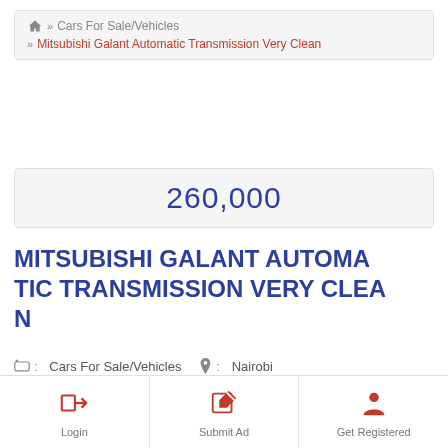Cars For Sale/Vehicles >> Mitsubishi Galant Automatic Transmission Very Clean
260,000
MITSUBISHI GALANT AUTOMATIC TRANSMISSION VERY CLEAN
Cars For Sale/Vehicles   Nairobi
AD DETAILS
Ad ID: #64112
Login   Submit Ad   Get Registered